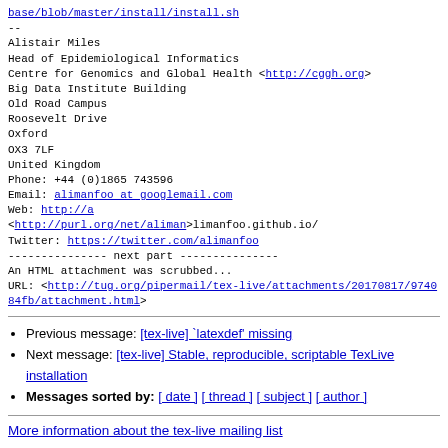base/blob/master/install/install.sh
--
Alistair Miles
Head of Epidemiological Informatics
Centre for Genomics and Global Health <http://cggh.org>
Big Data Institute Building
Old Road Campus
Roosevelt Drive
Oxford
OX3 7LF
United Kingdom
Phone: +44 (0)1865 743596
Email: alimanfoo at googlemail.com
Web: http://a
<http://purl.org/net/aliman>limanfoo.github.io/
Twitter: https://twitter.com/alimanfoo
--------------- next part ---------------
An HTML attachment was scrubbed...
URL: <http://tug.org/pipermail/tex-live/attachments/20170817/974084fb/attachment.html>
Previous message: [tex-live] `latexdef' missing
Next message: [tex-live] Stable, reproducible, scriptable TexLive installation
Messages sorted by: [ date ] [ thread ] [ subject ] [ author ]
More information about the tex-live mailing list